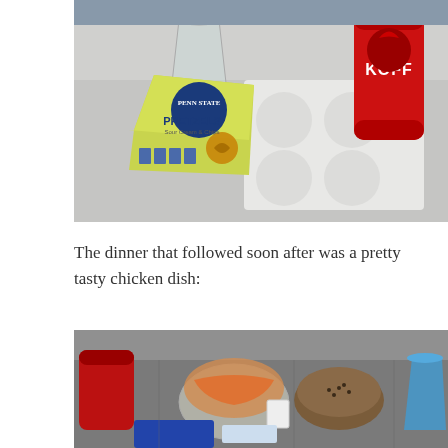[Figure (photo): Airplane tray table with a plastic cup, a Penn State Pretzels snack bag (Sour Cream & Chive flavor), and a red Koff beer can on a white coaster/napkin.]
The dinner that followed soon after was a pretty tasty chicken dish:
[Figure (photo): Airplane meal tray showing a salad in a clear bowl, bread roll, a red can, and a blue cup/container.]